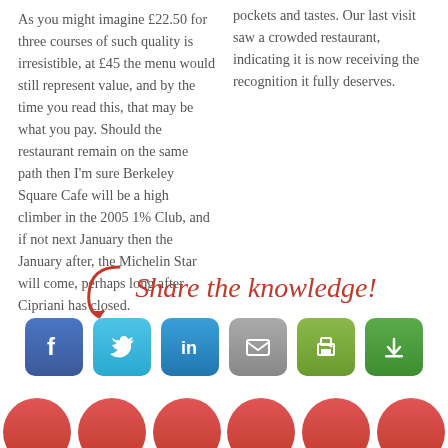As you might imagine £22.50 for three courses of such quality is irresistible, at £45 the menu would still represent value, and by the time you read this, that may be what you pay. Should the restaurant remain on the same path then I'm sure Berkeley Square Cafe will be a high climber in the 2005 1% Club, and if not next January then the January after, the Michelin Star will come, perhaps long after Cipriani has closed.
pockets and tastes. Our last visit saw a crowded restaurant, indicating it is now receiving the recognition it fully deserves.
[Figure (infographic): Share the knowledge! text with a red arrow pointing down to social media icons (Facebook, Twitter, LinkedIn, Email, Print, Save)]